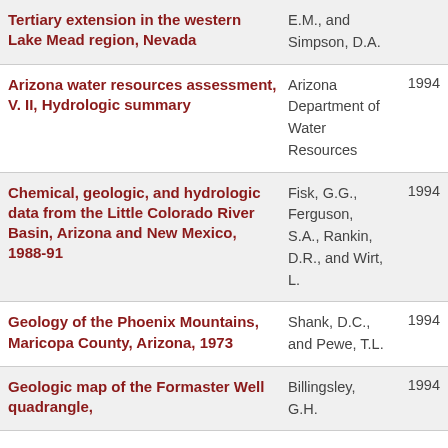| Title | Author | Year |
| --- | --- | --- |
| Tertiary extension in the western Lake Mead region, Nevada | E.M., and Simpson, D.A. |  |
| Arizona water resources assessment, V. II, Hydrologic summary | Arizona Department of Water Resources | 1994 |
| Chemical, geologic, and hydrologic data from the Little Colorado River Basin, Arizona and New Mexico, 1988-91 | Fisk, G.G., Ferguson, S.A., Rankin, D.R., and Wirt, L. | 1994 |
| Geology of the Phoenix Mountains, Maricopa County, Arizona, 1973 | Shank, D.C., and Pewe, T.L. | 1994 |
| Geologic map of the Formaster Well quadrangle, | Billingsley, G.H. | 1994 |